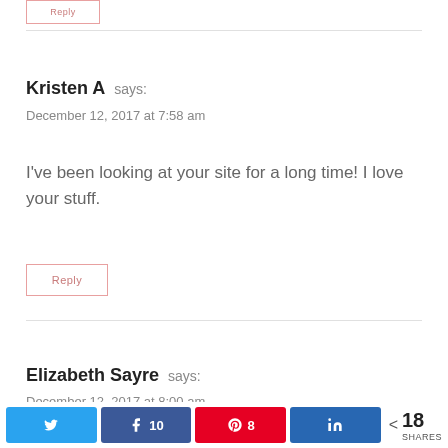Reply (button, top partial)
Kristen A says:
December 12, 2017 at 7:58 am
I've been looking at your site for a long time! I love your stuff.
Reply (button)
Elizabeth Sayre says:
December 12, 2017 at 8:00 am
Share bar: Twitter, Facebook 10, Pinterest 8, LinkedIn, < 18 SHARES